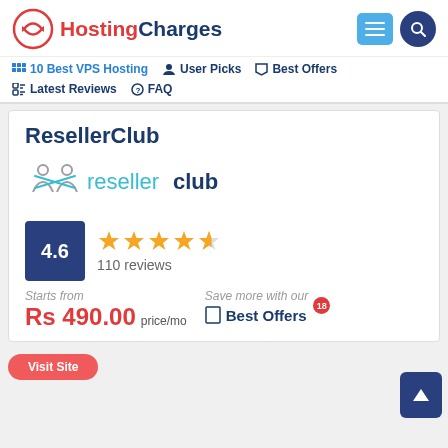[Figure (logo): HostingCharges website logo with red and dark blue text and circular arrow icon]
10 Best VPS Hosting   User Picks   Best Offers
Latest Reviews   FAQ
ResellerClub
[Figure (logo): ResellerClub logo with teal/gray crossed figures icon and blue text]
4.6  ★★★★½  110 reviews
Starts from
Rs 490.00 price/mo
Save more with our
☐ Best Offers 18